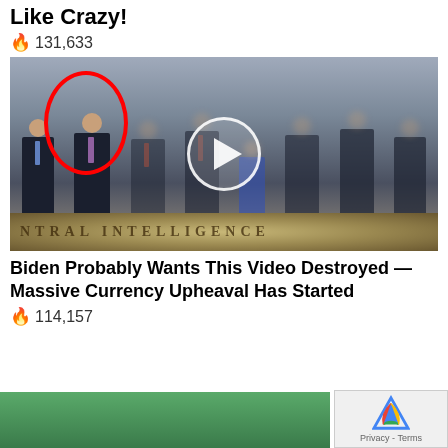Like Crazy!
🔥 131,633
[Figure (photo): Group photo of people standing in CIA headquarters lobby with the Central Intelligence Agency seal on the floor. One person on the left is circled in red. A video play button overlay appears in the center of the image.]
Biden Probably Wants This Video Destroyed — Massive Currency Upheaval Has Started
🔥 114,157
[Figure (illustration): Partial illustration at bottom of page with green background]
[Figure (logo): reCAPTCHA badge with Privacy - Terms text]